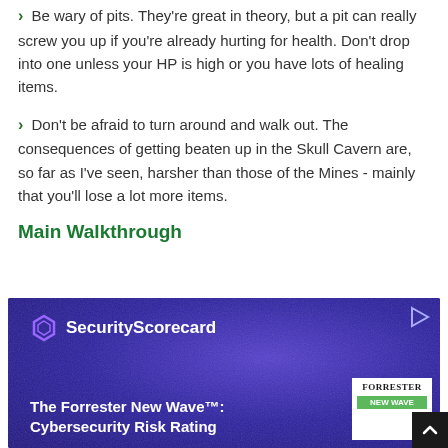Be wary of pits. They're great in theory, but a pit can really screw you up if you're already hurting for health. Don't drop into one unless your HP is high or you have lots of healing items.
Don't be afraid to turn around and walk out. The consequences of getting beaten up in the Skull Cavern are, so far as I've seen, harsher than those of the Mines - mainly that you'll lose a lot more items.
Main Walkthrough
[Figure (other): Advertisement banner for SecurityScorecard featuring 'The Forrester New Wave: Cybersecurity Risk Rating' with purple textured background and Forrester badge]